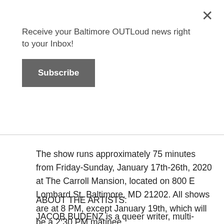Receive your Baltimore OUTLoud news right to your Inbox!
Subscribe
The show runs approximately 75 minutes from Friday-Sunday, January 17th-26th, 2020 at The Carroll Mansion, located on 800 E Lombard St, Baltimore, MD 21202. All shows are at 8 PM, except January 19th, which will be a 2:30 PM matinee.
ABOUT THE ARTISTS:
JACOB BUDENZ is a queer writer, multi-disciplinary performer, and educator with a BA from Johns